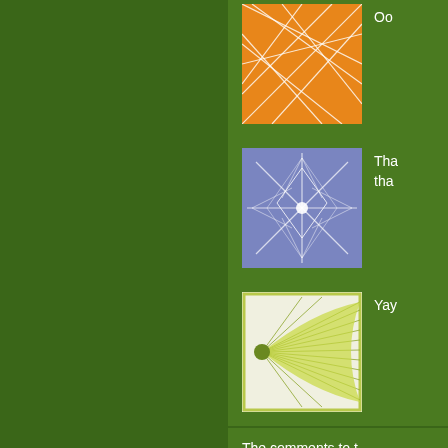[Figure (illustration): Orange geometric pattern thumbnail with intersecting white lines on orange background]
Oo
[Figure (illustration): Blue/purple geometric star/snowflake pattern thumbnail on blue-gray background]
Tha tha
[Figure (illustration): Yellow-green fan/leaf pattern thumbnail on white background]
Yay
The comments to t
Pi
A Knitting Mind...
evening. How was enough. I'm sure